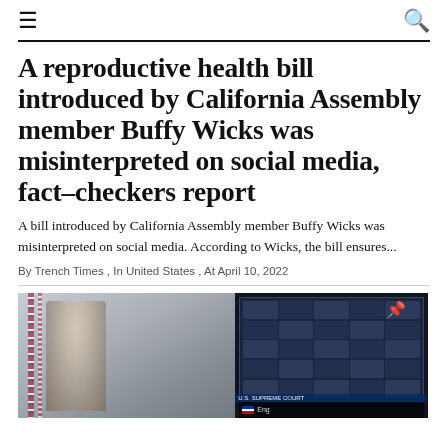≡  🔍
A reproductive health bill introduced by California Assembly member Buffy Wicks was misinterpreted on social media, fact-checkers report
A bill introduced by California Assembly member Buffy Wicks was misinterpreted on social media. According to Wicks, the bill ensures...
By Trench Times , In United States , At April 10, 2022
[Figure (photo): Photo of a smiling older man in a suit standing in front of American flags inside a room, with a television screen visible on the right showing what appears to be a legislative chamber in session. A pin/thumbtack icon is visible in the upper right of the image. Text overlays at the bottom include partial captions.]